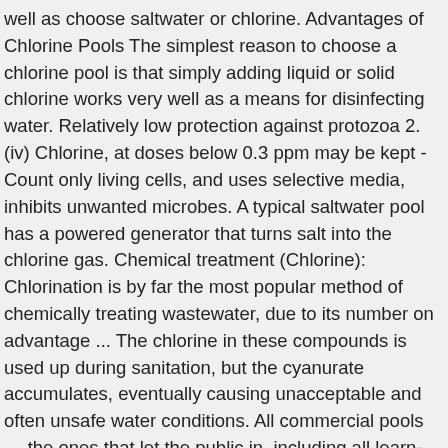well as choose saltwater or chlorine. Advantages of Chlorine Pools The simplest reason to choose a chlorine pool is that simply adding liquid or solid chlorine works very well as a means for disinfecting water. Relatively low protection against protozoa 2. (iv) Chlorine, at doses below 0.3 ppm may be kept -Count only living cells, and uses selective media, inhibits unwanted microbes. A typical saltwater pool has a powered generator that turns salt into the chlorine gas. Chemical treatment (Chlorine): Chlorination is by far the most popular method of chemically treating wastewater, due to its number on advantage ... The chlorine in these compounds is used up during sanitation, but the cyanurate accumulates, eventually causing unacceptable and often unsafe water conditions. All commercial pools — the ones that let the public in, including all learn-to-swim pools — must use chlorine for adequate and necessary disinfection. This is the first of several non-technical articles containing helpful information and hints on how to properly operate any swimming pool. Used for pools and town water